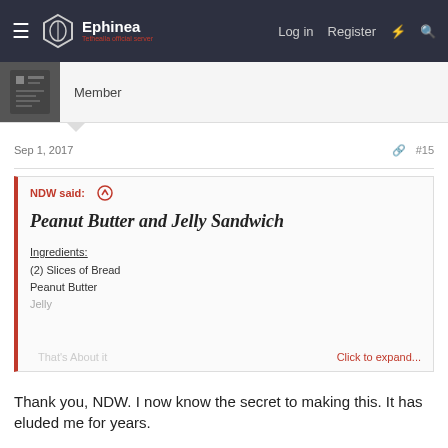Ephinea — Log in  Register
Member
Sep 1, 2017  #15
NDW said: ↑

Peanut Butter and Jelly Sandwich

Ingredients:
(2) Slices of Bread
Peanut Butter
Jelly

Click to expand...
Thank you, NDW. I now know the secret to making this. It has eluded me for years.